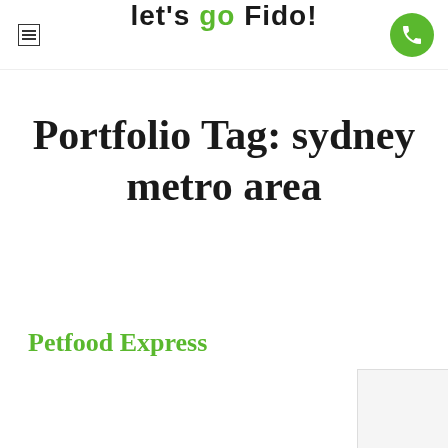let's go Fido!
Portfolio Tag: sydney metro area
Petfood Express